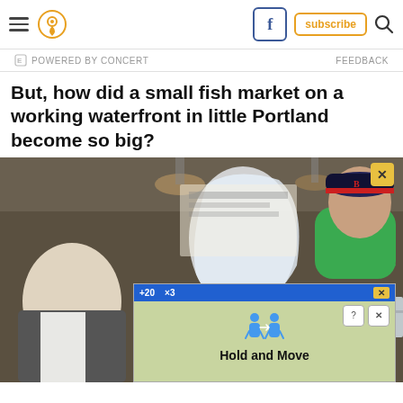Navigation bar with hamburger menu, location icon, Facebook button, subscribe button, search icon
POWERED BY CONCERT   FEEDBACK
But, how did a small fish market on a working waterfront in little Portland become so big?
[Figure (photo): A fish market scene: a worker in a green shirt and red/navy cap holds up a plastic bag across a counter to an older customer. The market interior shows industrial lighting, refrigerated display cases, and signage in the background. An advertisement overlay at the bottom shows a game ad for 'Hold and Move' with blue background, person icons, and close buttons.]